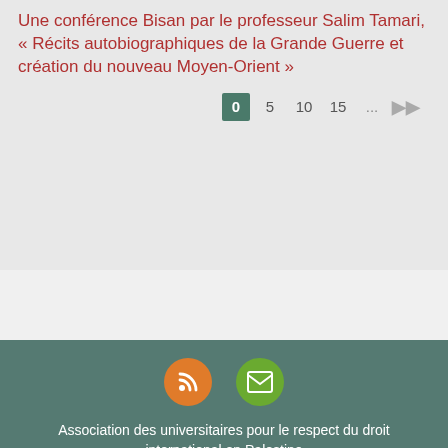Une conférence Bisan par le professeur Salim Tamari, « Récits autobiographiques de la Grande Guerre et création du nouveau Moyen-Orient »
0 5 10 15 ... ▶▶
[Figure (other): Orange circle icon with RSS symbol and green circle icon with envelope/mail symbol]
Association des universitaires pour le respect du droit international en Palestine
© 2009-2022 AURDIP